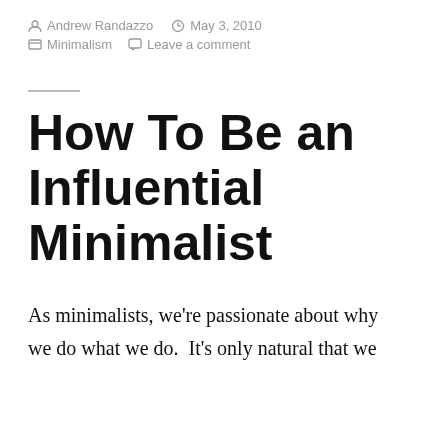Andrew Randazzo   May 3, 2010
Minimalism   Leave a comment
How To Be an Influential Minimalist
As minimalists, we're passionate about why we do what we do.  It's only natural that we